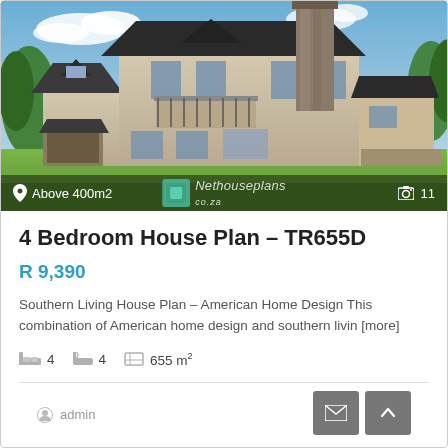[Figure (photo): 3D rendered exterior view of a large two-story American-style house with stone chimney, balcony, pool in backyard, green lawn, trees, and blue sky. Overlay shows 'Above 400m2' with location pin, Nethouseplans logo, and camera icon with '11'.]
4 Bedroom House Plan – TR655D
R 9,390
Southern Living House Plan – American Home Design This combination of American home design and southern livin [more]
4 bedrooms  4 bathrooms  655 m²
admin